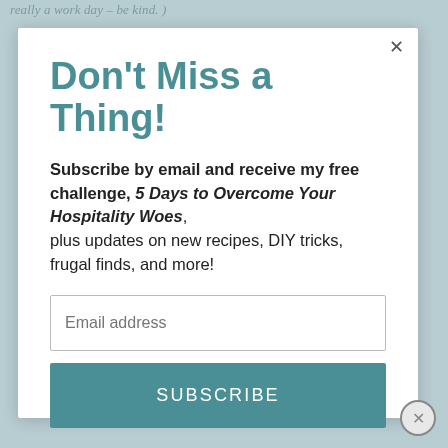really a work day – be kind. )
Don't Miss a Thing!
Subscribe by email and receive my free challenge, 5 Days to Overcome Your Hospitality Woes, plus updates on new recipes, DIY tricks, frugal finds, and more!
Email address
SUBSCRIBE